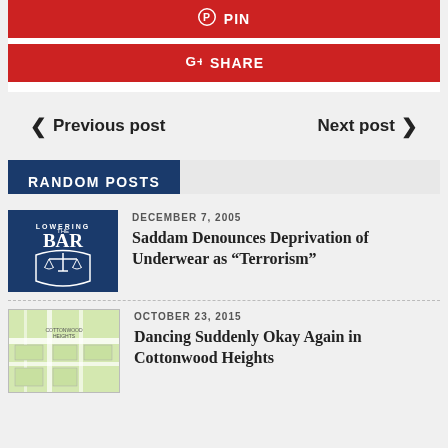[Figure (screenshot): PIN button - red social sharing button with Pinterest icon]
[Figure (screenshot): SHARE button - red social sharing button with Google+ icon]
< Previous post    Next post >
RANDOM POSTS
[Figure (logo): Lowering the Bar logo - dark blue background with scales of justice icon and text LOWERING BAR]
DECEMBER 7, 2005
Saddam Denounces Deprivation of Underwear as “Terrorism”
[Figure (map): Map thumbnail showing Cottonwood Heights area]
OCTOBER 23, 2015
Dancing Suddenly Okay Again in Cottonwood Heights